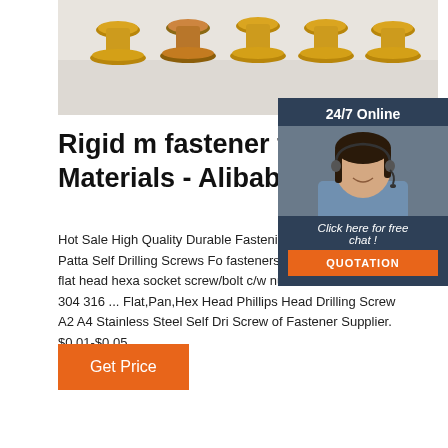[Figure (photo): Photo of multiple brass/gold colored screw heads arranged in a row on a light background]
[Figure (photo): Chat widget showing a customer service agent woman with headset, '24/7 Online' header, 'Click here for free chat!' text, and an orange QUOTATION button]
Rigid m fastener for Connecting Materials - Alibaba.com
Hot Sale High Quality Durable Fastening Ste Stainless Steel Patta Self Drilling Screws Fo fasteners m4 m 5 m6 m8 bolt flat head hexa socket screw/bolt c/w nut and washer din 79 304 316 ... Flat,Pan,Hex Head Phillips Head Drilling Screw A2 A4 Stainless Steel Self Dri Screw of Fastener Supplier. $0.01-$0.05 ...
Get Price